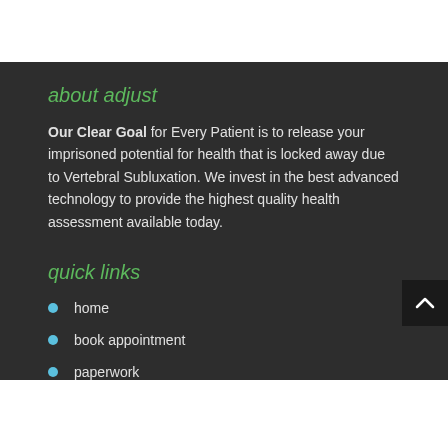about adjust
Our Clear Goal for Every Patient is to release your imprisoned potential for health that is locked away due to Vertebral Subluxation. We invest in the best advanced technology to provide the highest quality health assessment available today.
quick links
home
book appointment
paperwork